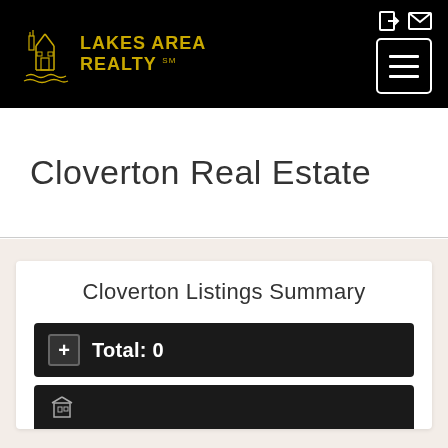[Figure (logo): Lakes Area Realty logo with house/lake illustration in gold on black background, with navigation icons and hamburger menu]
Cloverton Real Estate
Cloverton Listings Summary
Total: 0